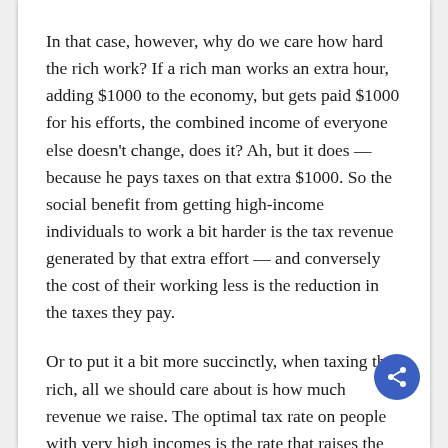In that case, however, why do we care how hard the rich work? If a rich man works an extra hour, adding $1000 to the economy, but gets paid $1000 for his efforts, the combined income of everyone else doesn't change, does it? Ah, but it does — because he pays taxes on that extra $1000. So the social benefit from getting high-income individuals to work a bit harder is the tax revenue generated by that extra effort — and conversely the cost of their working less is the reduction in the taxes they pay.
Or to put it a bit more succinctly, when taxing the rich, all we should care about is how much revenue we raise. The optimal tax rate on people with very high incomes is the rate that raises the maximum possible revenue.
And that's something we can estimate, given evidence on how responsive the pre-tax income of the wealthy actually is to tax rates. As I said, Diamond and Saez put the optimal rate at 73 percent, Romer at over 80 percent — which is consistent with what AOC said.